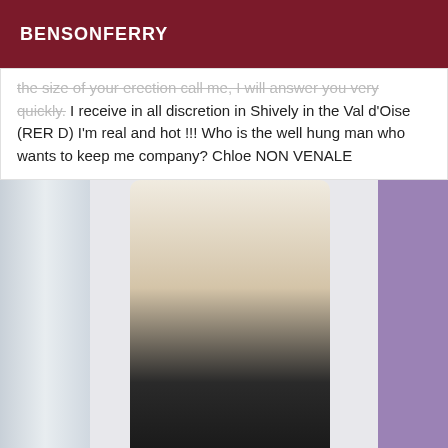BENSONFERRY
the size of your erection call me, I will answer you very quickly. I receive in all discretion in Shively in the Val d'Oise (RER D) I'm real and hot !!! Who is the well hung man who wants to keep me company? Chloe NON VENALE
[Figure (photo): A woman with long blonde hair wearing a white crop top and black shorts, taking a mirror selfie holding a smartphone, with a purple wall visible on the right side of the image.]